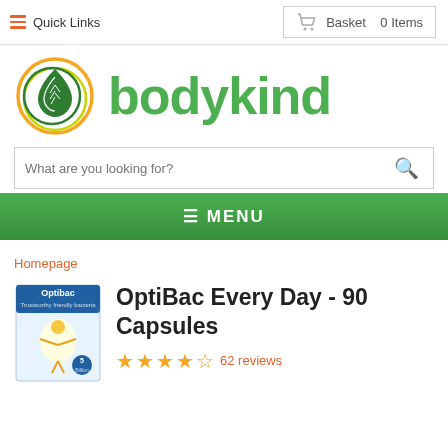Quick Links | Basket 0 Items
[Figure (logo): Bodykind logo with green leaf drop icon and green 'bodykind' wordmark]
What are you looking for?
≡ MENU
Homepage
[Figure (photo): OptiBac Every Day product box - 90 Capsules]
OptiBac Every Day - 90 Capsules
62 reviews